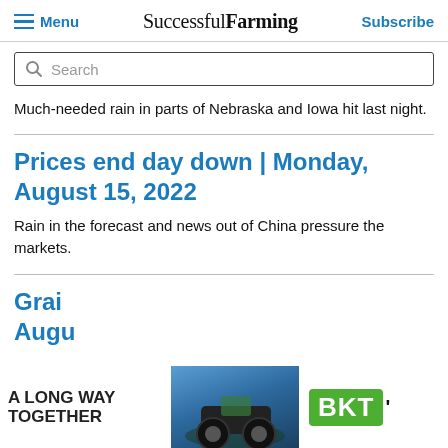Menu | Successful Farming | Subscribe
Search
Much-needed rain in parts of Nebraska and Iowa hit last night.
Prices end day down | Monday, August 15, 2022
Rain in the forecast and news out of China pressure the markets.
Grain ... August ...
[Figure (illustration): Advertisement banner: 'A Long Way Together' text with BKT tractor image and BKT green logo]